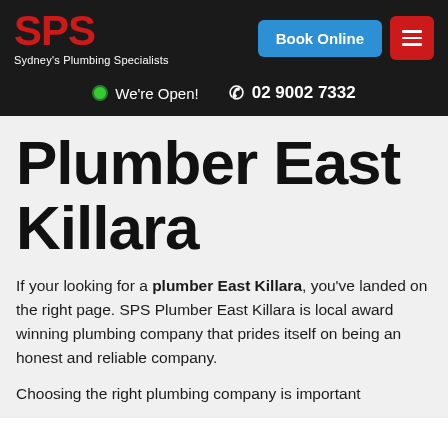[Figure (logo): SPS Sydney's Plumbing Specialists logo in red text on dark background]
We're Open!  02 9002 7332
Plumber East Killara
If your looking for a plumber East Killara, you've landed on the right page. SPS Plumber East Killara is local award winning plumbing company that prides itself on being an honest and reliable company.
Choosing the right plumbing company is important